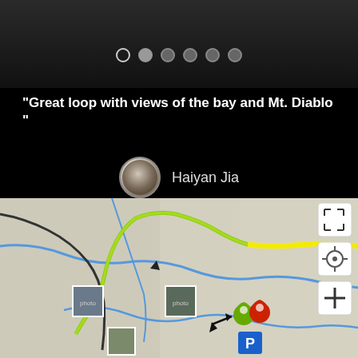[Figure (screenshot): Photo strip at top showing a dark nature/landscape image with page indicator dots (6 dots, first one outlined/selected)]
“Great loop with views of the bay and Mt. Diablo ”
Haiyan Jia
Your Rating: (5 empty stars)
Your Difficulty: (difficulty icons - green circle, blue circle, blue square, black diamond, open diamond, open diamond)
Your Favorites: Add to Favorites · Your List
[Figure (map): Topographic trail map showing hiking routes with green/yellow highlighted trails, blue water features, location pins (green teardrop and red pin), parking icon, photo thumbnails, and map control buttons (expand, locate, zoom in)]